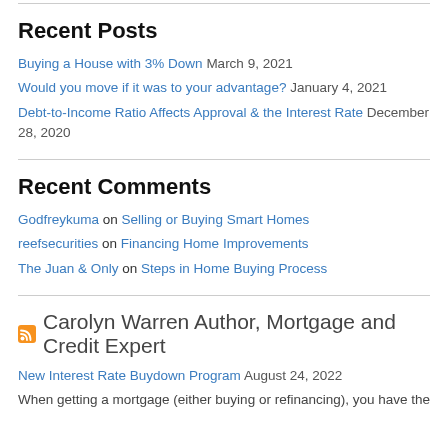Recent Posts
Buying a House with 3% Down March 9, 2021
Would you move if it was to your advantage? January 4, 2021
Debt-to-Income Ratio Affects Approval & the Interest Rate December 28, 2020
Recent Comments
Godfreykuma on Selling or Buying Smart Homes
reefsecurities on Financing Home Improvements
The Juan & Only on Steps in Home Buying Process
Carolyn Warren Author, Mortgage and Credit Expert
New Interest Rate Buydown Program August 24, 2022
When getting a mortgage (either buying or refinancing), you have the